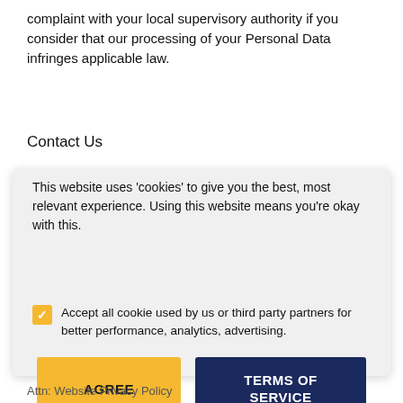complaint with your local supervisory authority if you consider that our processing of your Personal Data infringes applicable law.
Contact Us
[Figure (screenshot): Cookie consent modal with amber checkbox, AGREE button, and TERMS OF SERVICE button on a light grey background]
This website uses 'cookies' to give you the best, most relevant experience. Using this website means you're okay with this.
Accept all cookie used by us or third party partners for better performance, analytics, advertising.
Attn: Website Privacy Policy